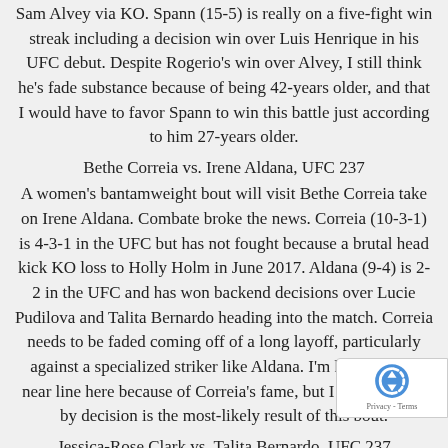Sam Alvey via KO. Spann (15-5) is really on a five-fight win streak including a decision win over Luis Henrique in his UFC debut. Despite Rogerio's win over Alvey, I still think he's fade substance because of being 42-years older, and that I would have to favor Spann to win this battle just according to him 27-years older.
Bethe Correia vs. Irene Aldana, UFC 237
A women's bantamweight bout will visit Bethe Correia take on Irene Aldana. Combate broke the news. Correia (10-3-1) is 4-3-1 in the UFC but has not fought because a brutal head kick KO loss to Holly Holm in June 2017. Aldana (9-4) is 2-2 in the UFC and has won backend decisions over Lucie Pudilova and Talita Bernardo heading into the match. Correia needs to be faded coming off of a long layoff, particularly against a specialized striker like Aldana. I'm hoping for a near line here because of Correia's fame, but I think Aldana by decision is the most-likely result of this bout.
Jessica-Rose Clark vs. Talita Bernardo, UFC 237
Women's flyweights Jessica-Rose Clark and Talita Bernardo will meet at this function. Combate broke the news. C... 5, 1 NC) is 2-1 in the UFC but fell a choice to Jessica Eye in